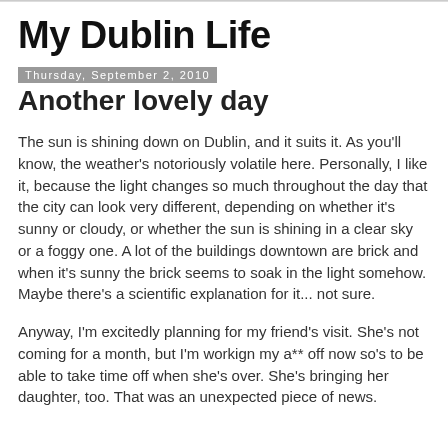My Dublin Life
Thursday, September 2, 2010
Another lovely day
The sun is shining down on Dublin, and it suits it. As you'll know, the weather's notoriously volatile here. Personally, I like it, because the light changes so much throughout the day that the city can look very different, depending on whether it's sunny or cloudy, or whether the sun is shining in a clear sky or a foggy one. A lot of the buildings downtown are brick and when it's sunny the brick seems to soak in the light somehow. Maybe there's a scientific explanation for it... not sure.
Anyway, I'm excitedly planning for my friend's visit. She's not coming for a month, but I'm workign my a** off now so's to be able to take time off when she's over. She's bringing her daughter, too. That was an unexpected piece of news.